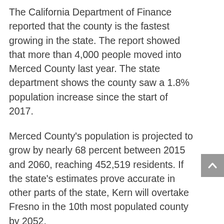The California Department of Finance reported that the county is the fastest growing in the state. The report showed that more than 4,000 people moved into Merced County last year. The state department shows the county saw a 1.8% population increase since the start of 2017.
Merced County's population is projected to grow by nearly 68 percent between 2015 and 2060, reaching 452,519 residents. If the state's estimates prove accurate in other parts of the state, Kern will overtake Fresno in the 10th most populated county by 2052.
Krotik says a big part of it has to do with the growth of UC Merced. About 1000 apartment units are being built in the city of Merced. County officials are working to accommodate the influx of both people and businesses.Another factor is affordability. Los